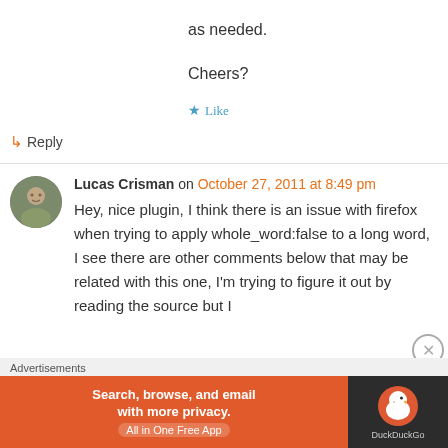as needed.
Cheers?
★ Like
↳ Reply
Lucas Crisman on October 27, 2011 at 8:49 pm
Hey, nice plugin, I think there is an issue with firefox when trying to apply whole_word:false to a long word, I see there are other comments below that may be related with this one, I'm trying to figure it out by reading the source but I
Advertisements
[Figure (infographic): DuckDuckGo advertisement banner: orange background with text 'Search, browse, and email with more privacy. All in One Free App' and DuckDuckGo logo on dark background.]